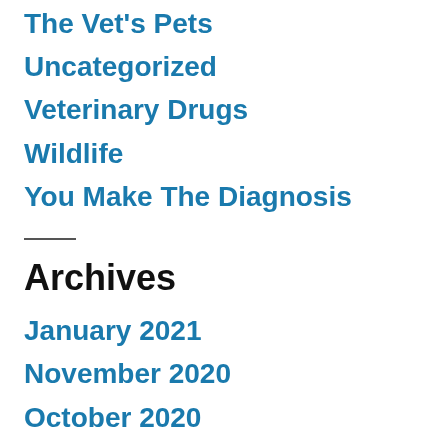The Vet's Pets
Uncategorized
Veterinary Drugs
Wildlife
You Make The Diagnosis
Archives
January 2021
November 2020
October 2020